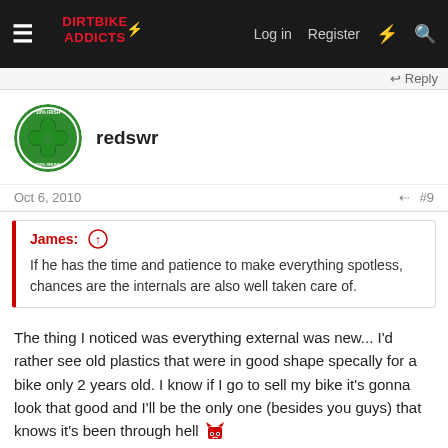Dirt Bike Addicts — Log in  Register
↩ Reply
redswr
Oct 6, 2010  #9
James: ↑
If he has the time and patience to make everything spotless, chances are the internals are also well taken care of.
The thing I noticed was everything external was new... I'd rather see old plastics that were in good shape specally for a bike only 2 years old. I know if I go to sell my bike it's gonna look that good and I'll be the only one (besides you guys) that knows it's been through hell 😈
Looks like a good deal to me though.. lol